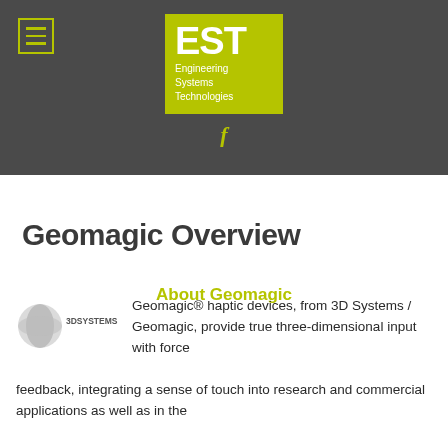[Figure (logo): EST Engineering Systems Technologies logo on dark grey header background with menu icon and Facebook link]
Geomagic Overview
About Geomagic
[Figure (logo): 3D Systems logo]
Geomagic® haptic devices, from 3D Systems / Geomagic, provide true three-dimensional input with force feedback, integrating a sense of touch into research and commercial applications as well as in the